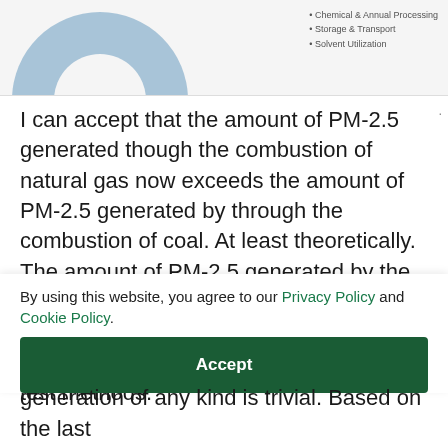[Figure (donut-chart): Partial view of a donut/pie chart (blue segment visible) with legend items: Storage & Transport, Solvent Utilization, and a partially visible third item (Chemical/Annual Processing)]
I can accept that the amount of PM-2.5 generated though the combustion of natural gas now exceeds the amount of PM-2.5 generated by through the combustion of coal. At least theoretically. The amount of PM-2.5 generated by the combustion of natural gas is relatively so tiny that it is very, very difficult to accurately measure using accepted EPA test methods.
By using this website, you agree to our Privacy Policy and Cookie Policy.
Accept
generation of any kind is trivial. Based on the last